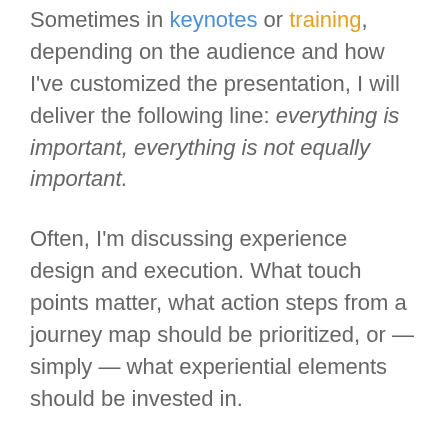Sometimes in keynotes or training, depending on the audience and how I've customized the presentation, I will deliver the following line: everything is important, everything is not equally important.
Often, I'm discussing experience design and execution. What touch points matter, what action steps from a journey map should be prioritized, or — simply — what experiential elements should be invested in.
Most of the time, everything's not equally important refers to customer